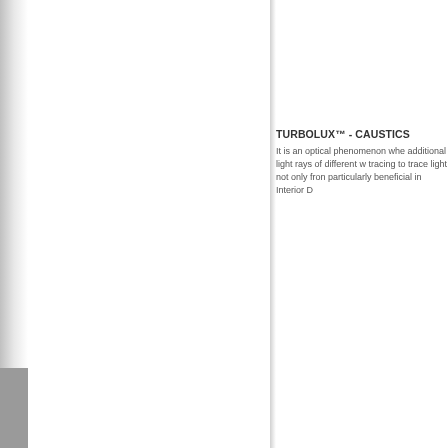TURBOLUX™ - CAUSTICS
It is an optical phenomenon whe additional light rays of different w tracing to trace light not only fron particularly beneficial in Interior D